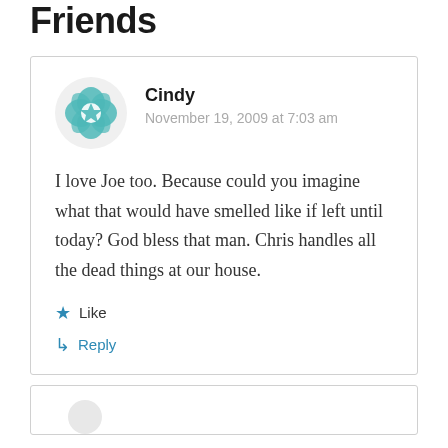Friends
Cindy
November 19, 2009 at 7:03 am
I love Joe too. Because could you imagine what that would have smelled like if left until today? God bless that man. Chris handles all the dead things at our house.
Like
Reply